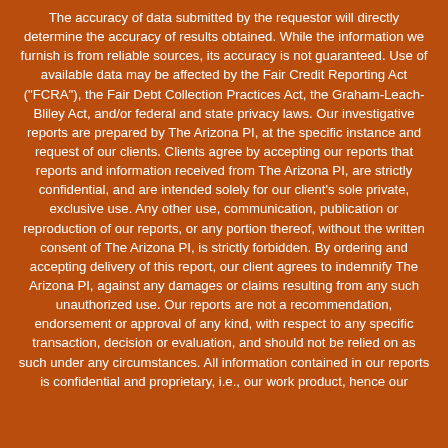The accuracy of data submitted by the requestor will directly determine the accuracy of results obtained. While the information we furnish is from reliable sources, its accuracy is not guaranteed. Use of available data may be affected by the Fair Credit Reporting Act ("FCRA"), the Fair Debt Collection Practices Act, the Graham-Leach-Bliley Act, and/or federal and state privacy laws. Our investigative reports are prepared by The Arizona PI, at the specific instance and request of our clients. Clients agree by accepting our reports that reports and information received from The Arizona PI, are strictly confidential, and are intended solely for our client's sole private, exclusive use. Any other use, communication, publication or reproduction of our reports, or any portion thereof, without the written consent of The Arizona PI, is strictly forbidden. By ordering and accepting delivery of this report, our client agrees to indemnify The Arizona PI, against any damages or claims resulting from any such unauthorized use. Our reports are not a recommendation, endorsement or approval of any kind, with respect to any specific transaction, decision or evaluation, and should not be relied on as such under any circumstances. All information contained in our reports is confidential and proprietary, i.e., our work product, hence our